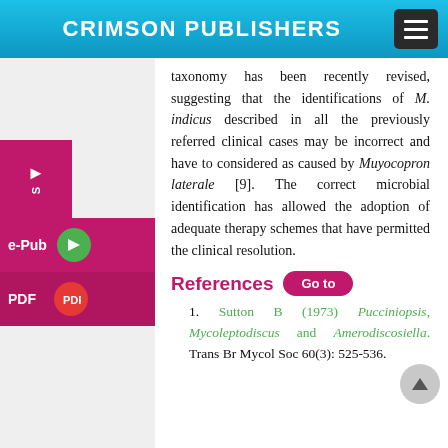CRIMSON PUBLISHERS
taxonomy has been recently revised, suggesting that the identifications of M. indicus described in all the previously referred clinical cases may be incorrect and have to considered as caused by Muyocopron laterale [9]. The correct microbial identification has allowed the adoption of adequate therapy schemes that have permitted the clinical resolution.
References
1. Sutton B (1973) Pucciniopsis, Mycoleptodiscus and Amerodiscosiella. Trans Br Mycol Soc 60(3): 525-536.